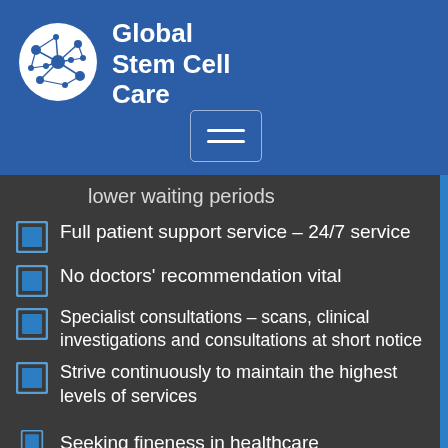[Figure (logo): Global Stem Cell Care logo - circular logo with white network/cell pattern on blue background]
Global Stem Cell Care
[Figure (other): Hamburger menu button with two horizontal lines]
lower waiting periods
Full patient support service – 24/7 service
No doctors' recommendation vital
Specialist consultations – scans, clinical investigations and consultations at short notice
Strive continuously to maintain the highest levels of services
Seeking fineness in healthcare